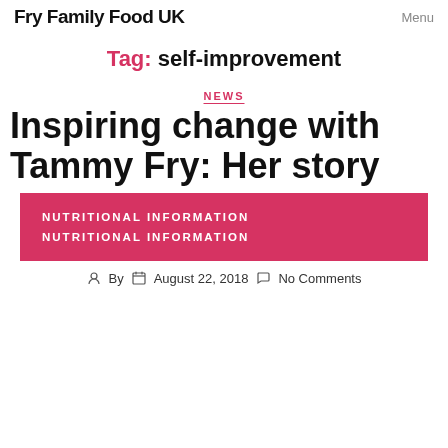Fry Family Food UK   Menu
Tag: self-improvement
NEWS
Inspiring change with Tammy Fry: Her story
NUTRITIONAL INFORMATION
NUTRITIONAL INFORMATION
By   August 22, 2018   No Comments